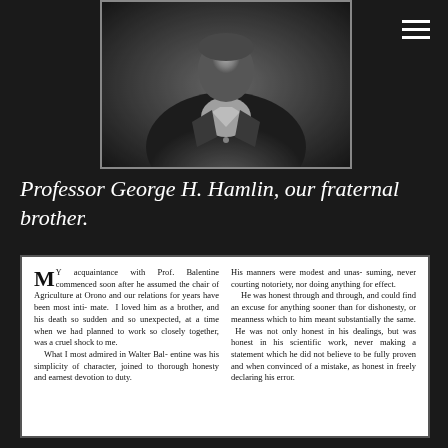[Figure (photo): Black and white portrait photograph of Professor George H. Hamlin, showing the torso and head area, wearing a suit. The image is grayscale with dark background.]
Professor George H. Hamlin, our fraternal brother.
[Figure (screenshot): Scanned newspaper or journal clipping with two columns of text discussing Professor Balentine, his character, honesty, and scientific integrity.]
MY acquaintance with Prof. Balentine commenced soon after he assumed the chair of Agriculture at Orono and our relations for years have been most intimate. I loved him as a brother, and his death so sudden and so unexpected, at a time when we had planned to work so closely together, was a cruel shock to me. What I most admired in Walter Balentine was his simplicity of character, joined to thorough honesty and earnest devotion to duty. His manners were modest and unassuming, never courting notoriety, nor doing anything for effect. He was honest through and through, and could find an excuse for anything sooner than for dishonesty, or meanness which to him meant substantially the same. He was not only honest in his dealings, but was honest in his scientific work, never making a statement which he did not believe to be fully proven and when convinced of a mistake, as honest in freely declaring his error.